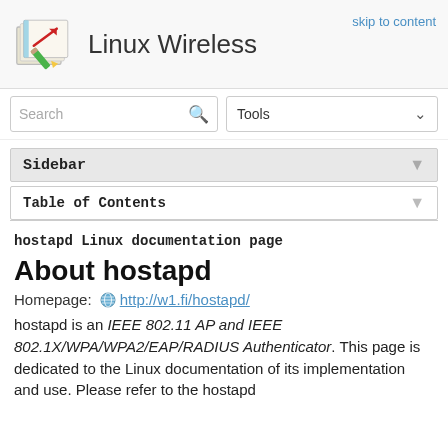Linux Wireless
skip to content
Sidebar
Table of Contents
hostapd Linux documentation page
About hostapd
Homepage: http://w1.fi/hostapd/
hostapd is an IEEE 802.11 AP and IEEE 802.1X/WPA/WPA2/EAP/RADIUS Authenticator. This page is dedicated to the Linux documentation of its implementation and use. Please refer to the hostapd homepage for information from the Operating System...